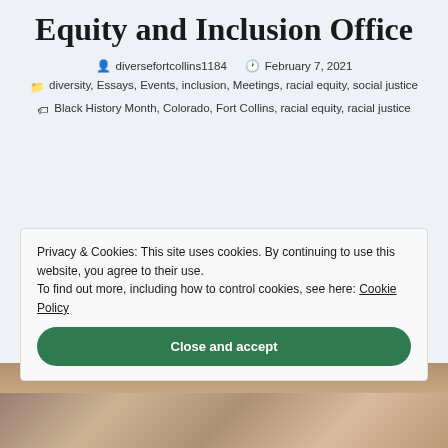Equity and Inclusion Office
diversefortcollins1184   February 7, 2021
diversity, Essays, Events, inclusion, Meetings, racial equity, social justice
Black History Month, Colorado, Fort Collins, racial equity, racial justice
Privacy & Cookies: This site uses cookies. By continuing to use this website, you agree to their use. To find out more, including how to control cookies, see here: Cookie Policy
Close and accept
[Figure (photo): Photo strip at bottom of page showing people, partially obscured by cookie consent overlay]